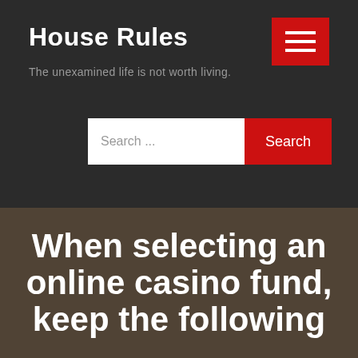House Rules
The unexamined life is not worth living.
[Figure (screenshot): Search bar with text input field showing 'Search ...' placeholder and a red 'Search' button]
When selecting an online casino fund, keep the following